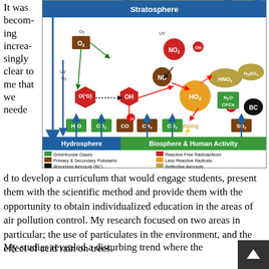It was becoming increasingly clear to me that we needed to develop a curriculum that would engage students, present them with the scientific method and provide them with the opportunity to obtain individualized education in the areas of air pollution control. My research focused on two areas in particular; the use of particulates in the environment, and the effect of acid rain on trees.
[Figure (infographic): Diagram showing interactions between air pollution and climate, including Stratosphere, Hydrosphere, Biosphere & Human Activity layers with chemical species (O3, NO2, OH, NO, HO2, HNO3, H2SO4, N2O, CFCs, BC, SO2, CH4, CO2, CO, H2O) and arrows indicating chemical and physical transformations. Legend shows Greenhouse Gases, Primary & Secondary Pollutants, Absorbing Aerosols (BC), Reactive Free Radical/Atom, Less Reactive Radicals, Reflective Aerosols.]
My studies revealed a disturbing trend where the